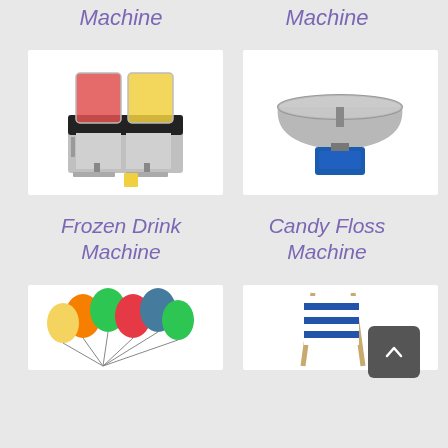Machine
Machine
[Figure (photo): Frozen drink / slushie machine with two large clear containers filled with red and yellow frozen drinks, stainless steel body, yellow cup below]
[Figure (photo): Candy floss / cotton candy machine with large round metal bowl on blue base]
Frozen Drink Machine
Candy Floss Machine
[Figure (photo): Colorful water balloons in orange, green, red, blue, yellow colors bunched together]
[Figure (photo): Striped blue and white deck chair / deckchair partially visible]